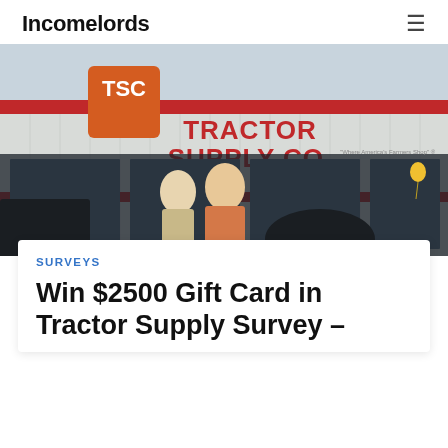Incomelords
[Figure (photo): Exterior of a Tractor Supply Co. store with two people standing in front, one wearing a red apron. Various outdoor equipment visible in the foreground.]
SURVEYS
Win $2500 Gift Card in Tractor Supply Survey –